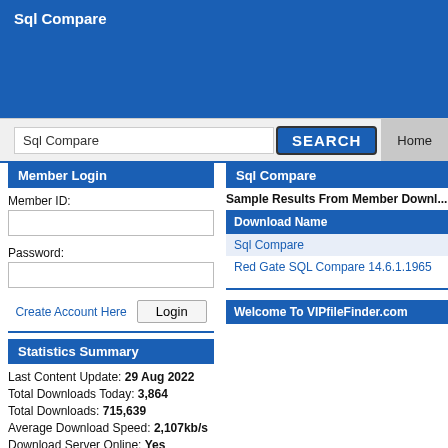Sql Compare
[Figure (screenshot): Blue header banner with Sql Compare title]
Sql Compare
Member Login
Member ID:
Password:
Create Account Here
Statistics Summary
Last Content Update: 29 Aug 2022
Total Downloads Today: 3,864
Total Downloads: 715,639
Average Download Speed: 2,107kb/s
Download Server Online: Yes
Members Logged in: 12,786
Sql Compare
Sample Results From Member Downloads
| Download Name |
| --- |
| Sql Compare |
| Red Gate SQL Compare 14.6.1.1965 |
Welcome To VIPfileFinder.com